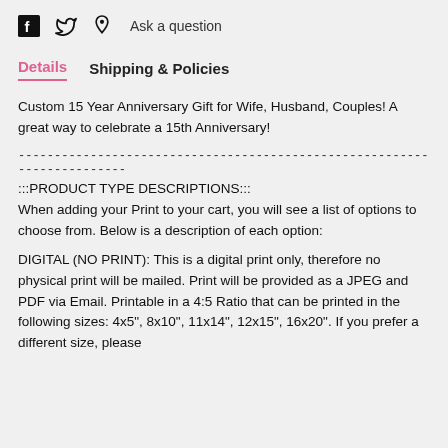Facebook icon  Twitter icon  Pinterest icon  Ask a question
Details  Shipping & Policies
Custom 15 Year Anniversary Gift for Wife, Husband, Couples! A great way to celebrate a 15th Anniversary!
------------------------------------------------------------------------
:::PRODUCT TYPE DESCRIPTIONS:::
When adding your Print to your cart, you will see a list of options to choose from. Below is a description of each option:
DIGITAL (NO PRINT): This is a digital print only, therefore no physical print will be mailed. Print will be provided as a JPEG and PDF via Email. Printable in a 4:5 Ratio that can be printed in the following sizes: 4x5", 8x10", 11x14", 12x15", 16x20". If you prefer a different size, please